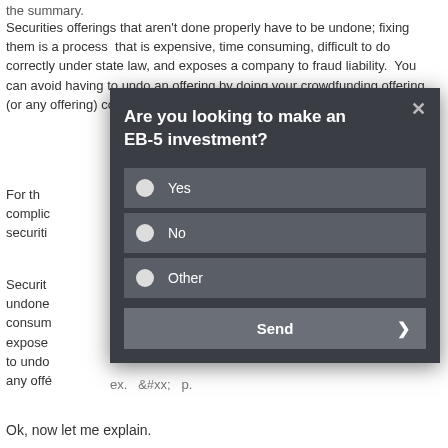the summary.
Securities offerings that aren't done properly have to be undone; fixing them is a process that is expensive, time consuming, difficult to do correctly under state law, and exposes a company to fraud liability. You can avoid having to undo an offering by doing your crowdfunding offering (or any offering) correctly in the first place.
For th... complic... securiti...
Securit... undone... consum... expose... to undo... any offe...
[Figure (screenshot): Modal dialog box with dark background asking 'Are you looking to make an EB-5 investment?' with radio button options: Yes, No, Other, and a Send button with a right arrow.]
Ok, now let me explain.